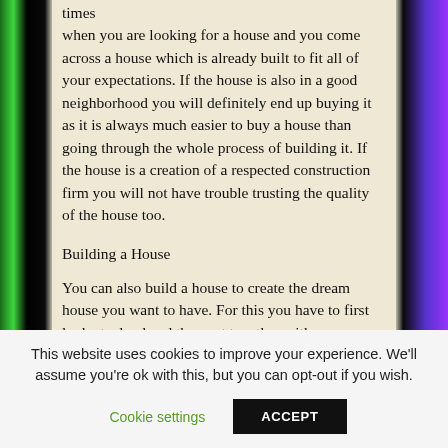times when you are looking for a house and you come across a house which is already built to fit all of your expectations. If the house is also in a good neighborhood you will definitely end up buying it as it is always much easier to buy a house than going through the whole process of building it. If the house is a creation of a respected construction firm you will not have trouble trusting the quality of the house too.
Building a House
You can also build a house to create the dream house you want to have. For this you have to first look at a land and then get together with a
This website uses cookies to improve your experience. We'll assume you're ok with this, but you can opt-out if you wish.
Cookie settings  ACCEPT